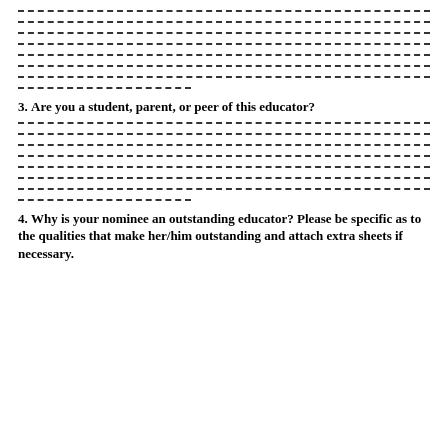---dashed lines (writing lines)---
3. Are you a student, parent, or peer of this educator?
---dashed lines (writing lines)---
4. Why is your nominee an outstanding educator?  Please be specific as to the qualities that make her/him outstanding and attach extra sheets if necessary.